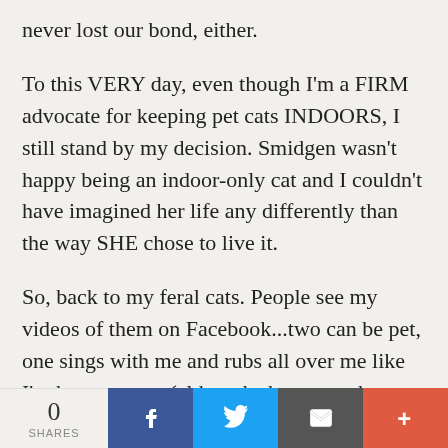never lost our bond, either.
To this VERY day, even though I'm a FIRM advocate for keeping pet cats INDOORS, I still stand by my decision. Smidgen wasn't happy being an indoor-only cat and I couldn't have imagined her life any differently than the way SHE chose to live it.
So, back to my feral cats. People see my videos of them on Facebook...two can be pet, one sings with me and rubs all over me like I'm her property (although she cannot be pet yet), and one of the two
0 SHARES | Facebook | Twitter | Email | More